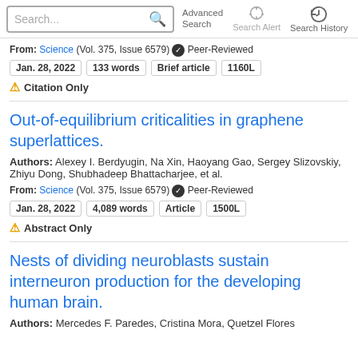Search... Advanced Search Search Alert Search History
From: Science (Vol. 375, Issue 6579) Peer-Reviewed
Jan. 28, 2022  133 words  Brief article  1160L
⚠ Citation Only
Out-of-equilibrium criticalities in graphene superlattices.
Authors: Alexey I. Berdyugin, Na Xin, Haoyang Gao, Sergey Slizovskiy, Zhiyu Dong, Shubhadeep Bhattacharjee, et al.
From: Science (Vol. 375, Issue 6579) Peer-Reviewed
Jan. 28, 2022  4,089 words  Article  1500L
⚠ Abstract Only
Nests of dividing neuroblasts sustain interneuron production for the developing human brain.
Authors: Mercedes F. Paredes, Cristina Mora, Quetzel Flores